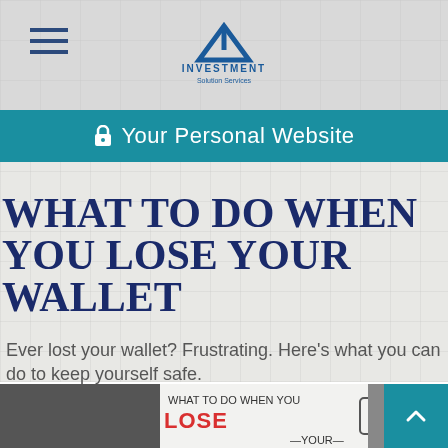Investment Solution Services
Your Personal Website
WHAT TO DO WHEN YOU LOSE YOUR WALLET
Ever lost your wallet? Frustrating. Here's what you can do to keep yourself safe.
[Figure (screenshot): Video thumbnail showing 'What to do when you lose your wallet' with a play button overlay and illustrated wallet graphic]